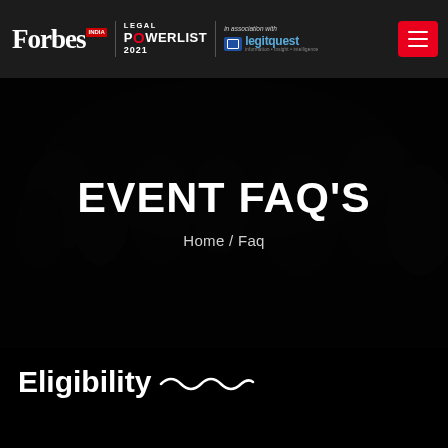Forbes India | Legal Power List 2021 | in association with legitquest
[Figure (screenshot): Dark hero section background image showing blurred audience/event silhouettes in a dark setting]
EVENT FAQ'S
Home / Faq
Eligibility